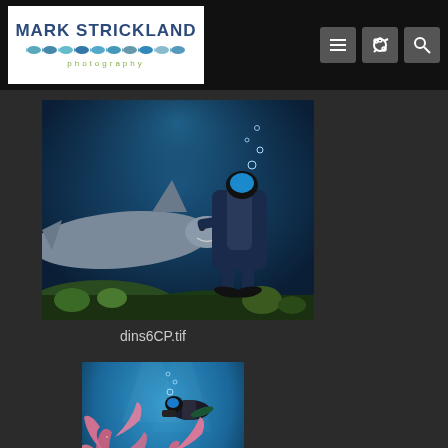[Figure (logo): Mark Strickland Photography logo with blue text and fish silhouettes]
[Figure (photo): Underwater photo of a scuba diver interacting with a shark near coral reef]
dins6CP.tif
[Figure (photo): Underwater photo of a scuba diver above colorful pink and orange soft coral formations]